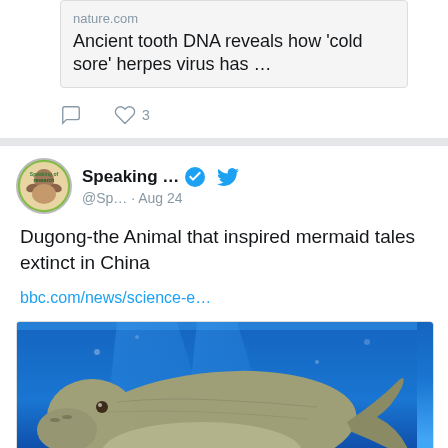nature.com
Ancient tooth DNA reveals how 'cold sore' herpes virus has …
♡ 3
Speaking ... @Sp... · Aug 24
Dugong-the Animal that inspired mermaid tales extinct in China
bbc.com/news/science-e…
[Figure (photo): Dugong swimming underwater with BBC NEWS badge overlay]
bbc.com
Dugong: Relative of mammal